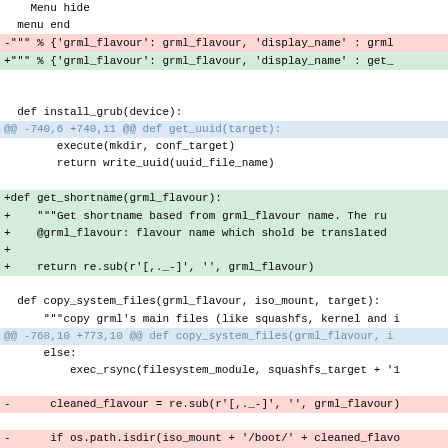Menu hide
  menu end
-""" % {'grml_flavour': grml_flavour, 'display_name' : grml
+""" % {'grml_flavour': grml_flavour, 'display_name' : get_

  def install_grub(device):
@@ -740,6 +740,11 @@ def get_uuid(target):
        execute(mkdir, conf_target)
        return write_uuid(uuid_file_name)

+def get_shortname(grml_flavour):
+    """Get shortname based from grml_flavour name. The ru
+    @grml_flavour: flavour name which shold be translated
+
+    return re.sub(r'[,._-]', '', grml_flavour)

  def copy_system_files(grml_flavour, iso_mount, target):
      """copy grml's main files (like squashfs, kernel and i
@@ -768,10 +773,10 @@ def copy_system_files(grml_flavour, i
      else:
           exec_rsync(filesystem_module, squashfs_target + '1

-     cleaned_flavour = re.sub(r'[,._-]', '', grml_flavour)

-     if os.path.isdir(iso_mount + '/boot/' + cleaned_flavo
-          exec_rsync(iso_mount + '/boot/' + cleaned_flavour,